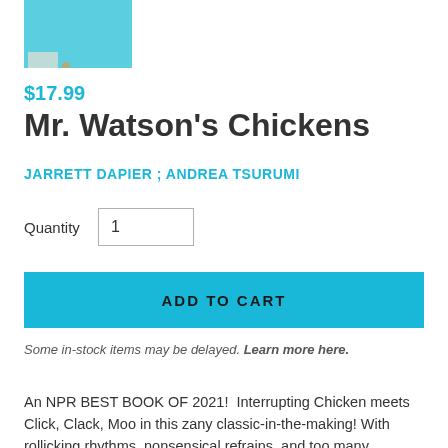[Figure (photo): Book cover thumbnail for Mr. Watson's Chickens, light blue background with eggs]
$17.99
Mr. Watson's Chickens
JARRETT DAPIER ; ANDREA TSURUMI
Quantity  1
ADD TO CART
Some in-stock items may be delayed. Learn more here.
An NPR BEST BOOK OF 2021!  Interrupting Chicken meets Click, Clack, Moo in this zany classic-in-the-making! With rollicking rhythms, nonsensical refrains, and too many